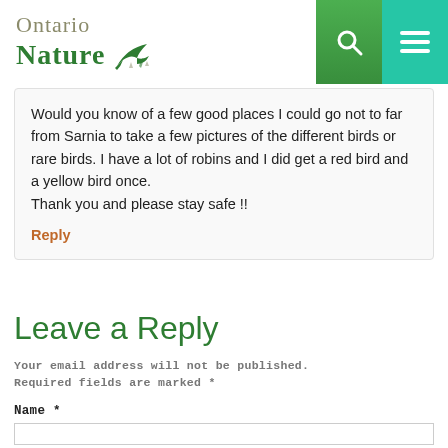Ontario Nature
Would you know of a few good places I could go not to far from Sarnia to take a few pictures of the different birds or rare birds. I have a lot of robins and I did get a red bird and a yellow bird once.
Thank you and please stay safe !!
Reply
Leave a Reply
Your email address will not be published. Required fields are marked *
Name *